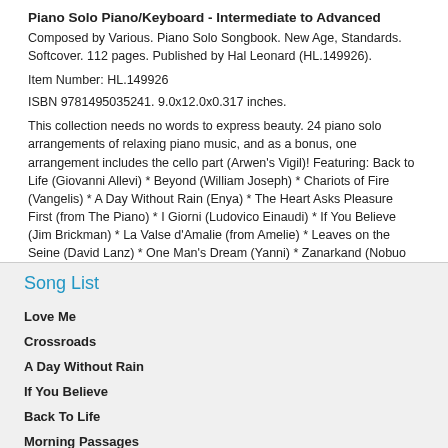Piano Solo Piano/Keyboard - Intermediate to Advanced
Composed by Various. Piano Solo Songbook. New Age, Standards. Softcover. 112 pages. Published by Hal Leonard (HL.149926).
Item Number: HL.149926
ISBN 9781495035241. 9.0x12.0x0.317 inches.
This collection needs no words to express beauty. 24 piano solo arrangements of relaxing piano music, and as a bonus, one arrangement includes the cello part (Arwen's Vigil)! Featuring: Back to Life (Giovanni Allevi) * Beyond (William Joseph) * Chariots of Fire (Vangelis) * A Day Without Rain (Enya) * The Heart Asks Pleasure First (from The Piano) * I Giorni (Ludovico Einaudi) * If You Believe (Jim Brickman) * La Valse d'Amalie (from Amelie) * Leaves on the Seine (David Lanz) * One Man's Dream (Yanni) * Zanarkand (Nobuo Uematsu) * and more!
Song List
Love Me
Crossroads
A Day Without Rain
If You Believe
Back To Life
Morning Passages
Chariots of Fire